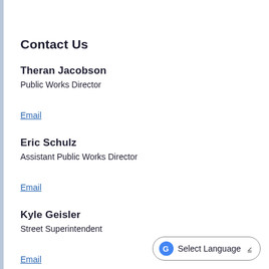Contact Us
Theran Jacobson
Public Works Director
Email
Eric Schulz
Assistant Public Works Director
Email
Kyle Geisler
Street Superintendent
Email